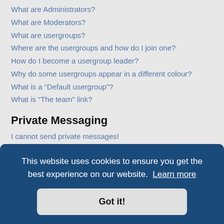What are Administrators?
What are Moderators?
What are usergroups?
Where are the usergroups and how do I join one?
How do I become a usergroup leader?
Why do some usergroups appear in a different colour?
What is a “Default usergroup”?
What is “The team” link?
Private Messaging
I cannot send private messages!
I keep getting unwanted private messages!
I have received a spamming or abusive email from someone on this board!
This website uses cookies to ensure you get the best experience on our website. Learn more
Got it!
Why does my search return no results?
Why does my search return a blank page!?